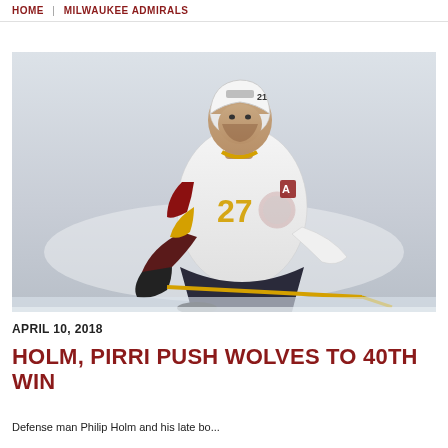HOME | MILWAUKEE ADMIRALS
[Figure (photo): Hockey player wearing jersey number 27 with white Wolves uniform including gold and maroon accents, CCM helmet number 21, leaning forward on the ice in a game situation.]
APRIL 10, 2018
HOLM, PIRRI PUSH WOLVES TO 40TH WIN
Defense man Philip Holm and his late bonus...